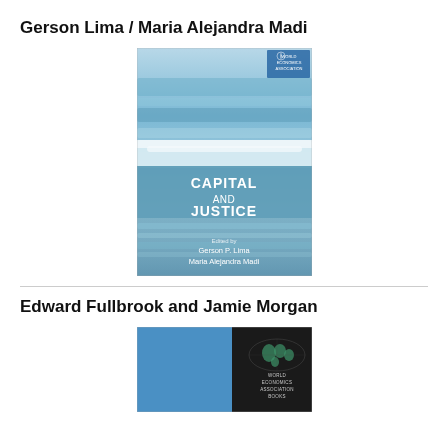Gerson Lima / Maria Alejandra Madi
[Figure (photo): Book cover of 'Capital and Justice', edited by Gerson P. Lima and Maria Alejandra Madi. The cover shows ocean waves with blue and white tones, with the title 'CAPITAL AND JUSTICE' printed in white text in the center, and the editors' names at the bottom.]
Edward Fullbrook and Jamie Morgan
[Figure (photo): Partial book cover showing a blue left panel and a black right panel with a world map graphic and 'World Economics Association Books' text.]